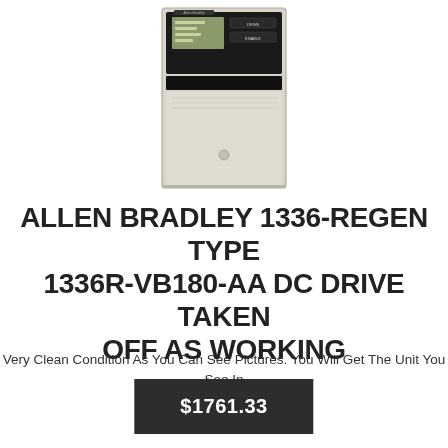[Figure (photo): Photo of an Allen Bradley 1336-REGEN DC drive unit, a tall beige/off-white enclosure with a black control panel at the top featuring display labels and indicators.]
ALLEN BRADLEY 1336-REGEN TYPE 1336R-VB180-AA DC DRIVE TAKEN OFF AS WORKING
Very Clean Condition As You Can See Pictures. You Will Get The Unit You See In The Pictures.
$1761.33